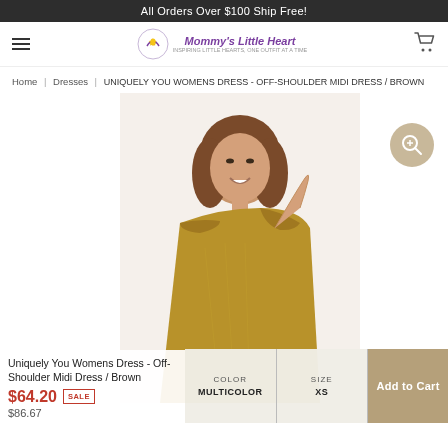All Orders Over $100 Ship Free!
[Figure (logo): Mommy's Little Heart logo with icon and text]
Home | Dresses | UNIQUELY YOU WOMENS DRESS - OFF-SHOULDER MIDI DRESS / BROWN
[Figure (photo): Woman smiling wearing a brown off-shoulder midi dress, with magnifying glass button overlay]
Uniquely You Womens Dress - Off-Shoulder Midi Dress / Brown
$64.20 SALE
COLOR MULTICOLOR
SIZE XS
Add to Cart